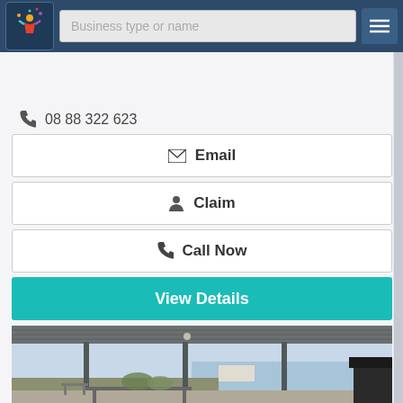Business type or name
08 88 322 623
Email
Claim
Call Now
View Details
[Figure (photo): Outdoor covered patio/veranda with metal roof and posts, outdoor table and chairs, overlooking scrubland and a body of water (bay/lake) under a blue sky]